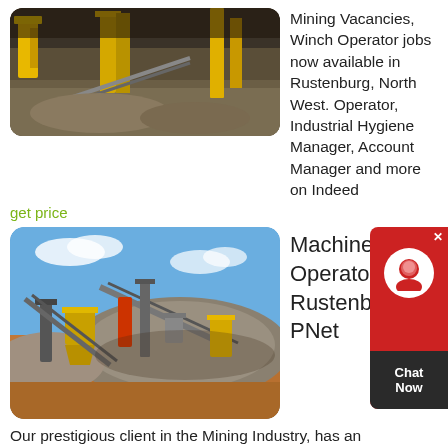[Figure (photo): Mining site with industrial machinery, gravel piles, and yellow equipment under a covered area]
Mining Vacancies, Winch Operator jobs now available in Rustenburg, North West. Operator, Industrial Hygiene Manager, Account Manager and more on Indeed
get price
[Figure (photo): Open pit mining facility with conveyor belts, machinery, and large gravel/ore piles under a blue sky]
Machine Operator Jobs Rustenburg PNet
Our prestigious client in the Mining Industry, has an opportunity available for Loader Operator to be based in the North West area. * 2-Years working experience as a Loader Operator in the mining environment. Our prestigious client in the Mining Industry, has an opportunity available for Loader Operator to be based in the North West area. * 2-Years working experience as a Loader